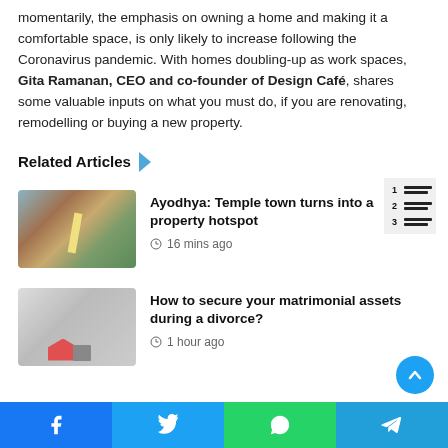momentarily, the emphasis on owning a home and making it a comfortable space, is only likely to increase following the Coronavirus pandemic. With homes doubling-up as work spaces, Gita Ramanan, CEO and co-founder of Design Café, shares some valuable inputs on what you must do, if you are renovating, remodelling or buying a new property.
Related Articles
[Figure (photo): Aerial view of a town with dense buildings and a road]
Ayodhya: Temple town turns into a property hotspot
16 mins ago
[Figure (photo): Two people signing documents next to a miniature house model with keys]
How to secure your matrimonial assets during a divorce?
1 hour ago
Facebook Twitter WhatsApp Telegram